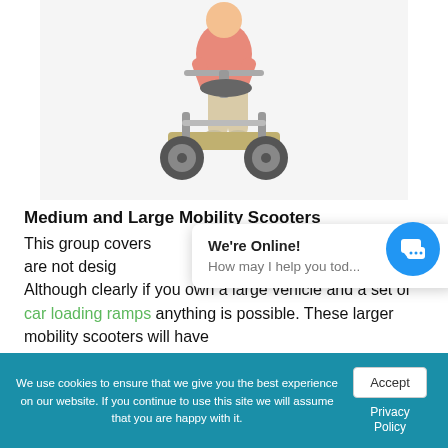[Figure (photo): Person riding a mobility scooter, white background, wearing pink top and beige trousers]
Medium and Large Mobility Scooters
This group covers ... scooters ... that are not designed ... to go in the boot of your vehicle. Although clearly if you own a large vehicle and a set of car loading ramps anything is possible. These larger mobility scooters will have
We're Online!
How may I help you tod...
We use cookies to ensure that we give you the best experience on our website. If you continue to use this site we will assume that you are happy with it.